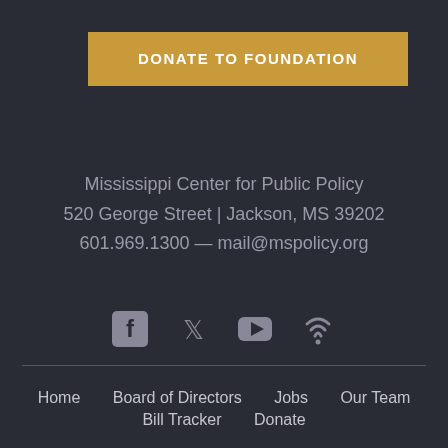DONATE TO FOUNDATION
Mississippi Center for Public Policy
520 George Street | Jackson, MS 39202
601.969.1300 — mail@mspolicy.org
[Figure (infographic): Social media icons: Facebook, Twitter, YouTube, and a wifi/RSS icon in gray]
Home   Board of Directors   Jobs   Our Team   Bill Tracker   Donate